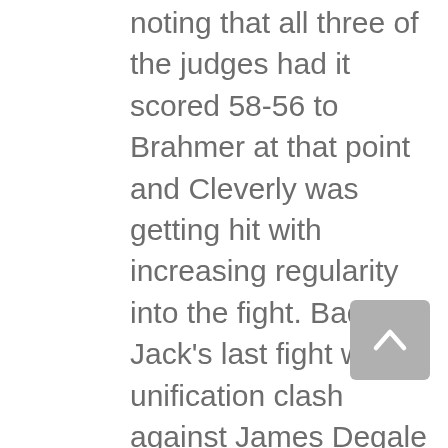noting that all three of the judges had it scored 58-56 to Brahmer at that point and Cleverly was getting hit with increasing regularity into the fight. Badou Jack's last fight was a unification clash against James Degale at Super Middleweight, with the winner looking to add the other fighter's title to their collection. After a flash knock down in round one where he clearly wasn't hurt but off balance, Jack grew into the fight and scored a knock down himself in the twelfth. Jack demonstrated many good boxing attributes in the fight, often taking control of the ring and applying high amounts of pressure on IBF Champion Degale whose mobility had dropped off significantly due to a high volume of body shots and an ever